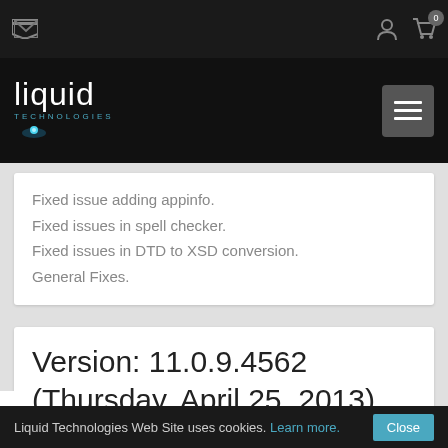Liquid Technologies website header with navigation icons and logo
Fixed issue adding appinfo.
Fixed issues in spell checker.
Fixed issues in DTD to XSD conversion.
General Fixes.
Version: 11.0.9.4562 (Thursday, April 25, 2013)
Added missing VC++ 9 Runtimes for x64.
Improved background validation.
Liquid Technologies Web Site uses cookies. Learn more. Close